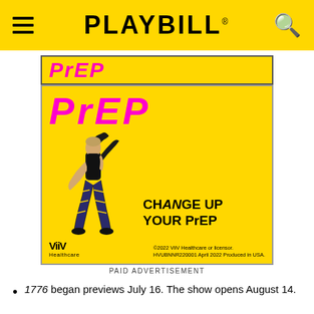PLAYBILL
[Figure (illustration): Paid advertisement for ViiV Healthcare PrEP showing a dancer in yellow background with the text 'PrEP' in large pink letters and 'CHANGE UP YOUR PrEP' in bold black text. ViiV Healthcare logo and legal text at bottom. ©2022 ViiV Healthcare or licensor. HVUBNNR220001 April 2022 Produced in USA.]
PAID ADVERTISEMENT
1776 began previews July 16. The show opens August 14.